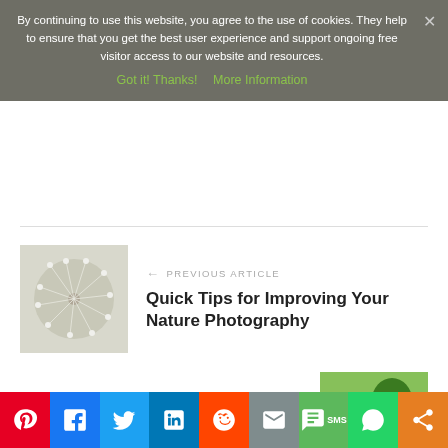By continuing to use this website, you agree to the use of cookies. They help to ensure that you get the best user experience and support ongoing free visitor access to our website and resources.
Got it! Thanks!   More Information
PREVIOUS ARTICLE
Quick Tips for Improving Your Nature Photography
[Figure (photo): Close-up photo of dandelion seeds]
NEXT ARTICLE
Improving Energy Efficiency in Your Current Home
[Figure (photo): Solar panels in a field with trees and yellow flowers]
[Figure (infographic): Social share bar with Pinterest, Facebook, Twitter, LinkedIn, Reddit, Email, SMS, WhatsApp, and Share buttons]